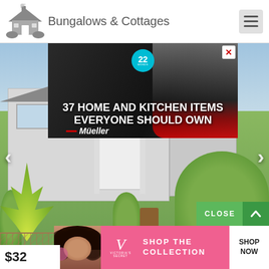[Figure (logo): Bungalows & Cottages website logo with house icon]
[Figure (screenshot): Advertisement banner: 37 HOME AND KITCHEN ITEMS EVERYONE SHOULD OWN with Mueller branding and badge showing 22]
[Figure (photo): Exterior photo of a bungalow/cottage house with front yard, greenery, fence, and potted plants]
$32
[Figure (screenshot): Victoria's Secret advertisement banner: SHOP THE COLLECTION with SHOP NOW call to action button]